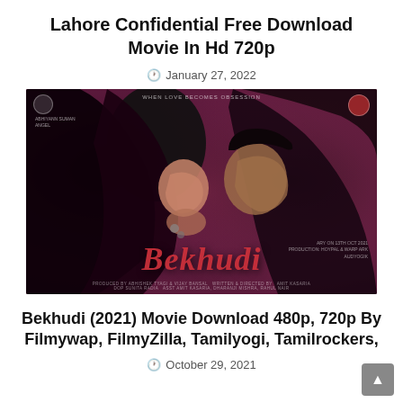Lahore Confidential Free Download Movie In Hd 720p
January 27, 2022
[Figure (photo): Movie poster for Bekhudi (2021) showing a couple in close embrace against a dark pink/purple background with the movie title in red italic script at the bottom]
Bekhudi (2021) Movie Download 480p, 720p By Filmywap, FilmyZilla, Tamilyogi, Tamilrockers,
October 29, 2021